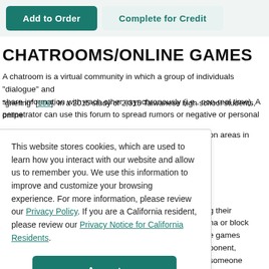Add to Order | Complete for Credit
CHATROOMS/ONLINE GAMES
A chatroom is a virtual community in which a group of individuals "dialogue" and share information with each other asynchronously (i.e., non-real time). A perpetrator can use this forum to spread rumors or negative or personal
This website stores cookies, which are used to learn how you interact with our website and allow us to remember you. We use this information to improve and customize your browsing experience. For more information, please review our Privacy Policy. If you are a California resident, please review our Privacy Notice for California Residents.
Accept
"griefing" [100]. In a 2015 study of 2,315 Taiwanese high school students, online